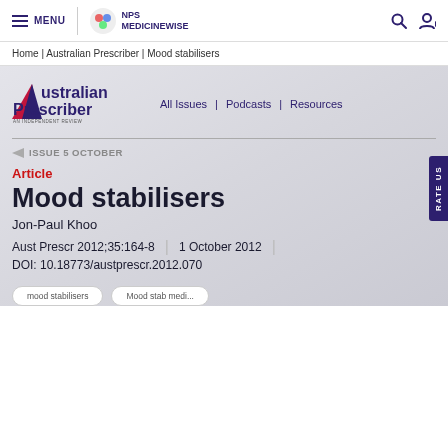MENU | NPS MEDICINEWISE
Home | Australian Prescriber | Mood stabilisers
[Figure (logo): Australian Prescriber - An Independent Review logo with navigation: All Issues | Podcasts | Resources]
← ISSUE 5 OCTOBER
Article
Mood stabilisers
Jon-Paul Khoo
Aust Prescr 2012;35:164-8 | 1 October 2012 |
DOI: 10.18773/austprescr.2012.070